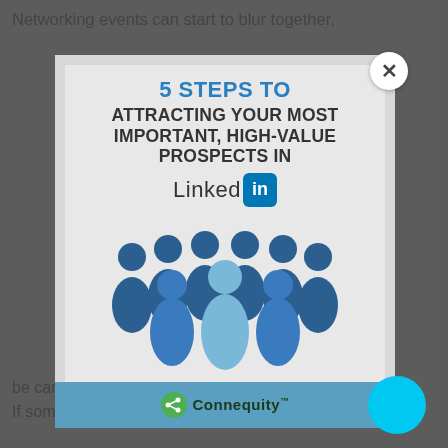Networking events can start to blur together,
[Figure (infographic): Modal popup showing a book/guide cover titled '5 Steps to Attracting Your Most Important, High-Value Prospects in LinkedIn' with LinkedIn logo, group of people silhouettes, and Connequity branding at the bottom. Has a close (X) button in the top right corner.]
be careful not to leave your conversations at the t...
If someone told you about an interesting project,